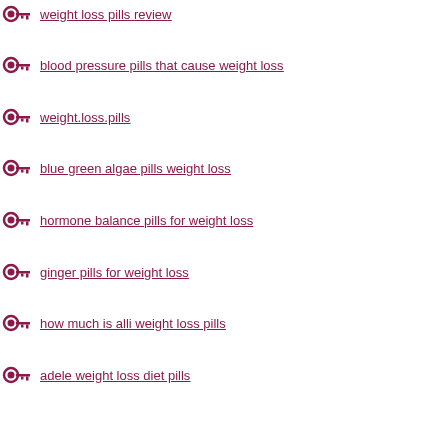weight loss pills review
blood pressure pills that cause weight loss
weight.loss.pills
blue green algae pills weight loss
hormone balance pills for weight loss
ginger pills for weight loss
how much is alli weight loss pills
adele weight loss diet pills